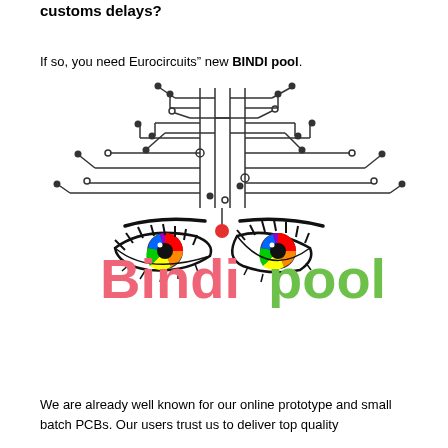customs delays?
If so, you need Eurocircuits” new BINDI pool.
[Figure (illustration): Circuit board trace pattern forming a human face with colorful rainbow eyes and a red bindi dot, with circuit traces extending upward like hair. Below the illustration is the 'Bindi pool' logo in pink and green text.]
We are already well known for our online prototype and small batch PCBs. Our users trust us to deliver top quality